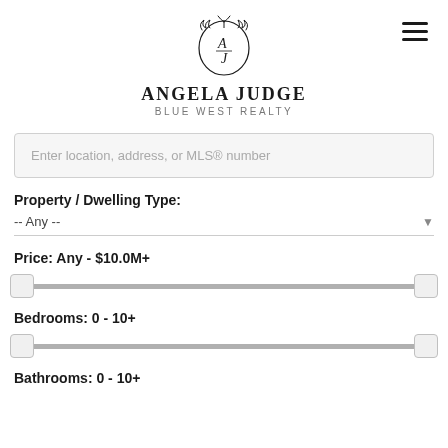[Figure (logo): Angela Judge Blue West Realty logo with circular emblem containing A/J initials and botanical decorations, brand name in serif capitals, and subtitle in grey sans-serif]
Enter location, address, or MLS® number
Property / Dwelling Type:
-- Any --
Price: Any - $10.0M+
Bedrooms: 0 - 10+
Bathrooms: 0 - 10+